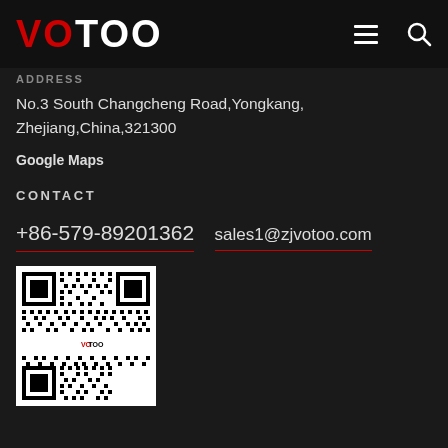VOTOO
ADDRESS
No.3 South Changcheng Road,Yongkang,Zhejiang,China,321300
Google Maps
CONTACT
+86-579-89201362
sales1@zjvotoo.com
[Figure (other): QR code for VOTOO WeChat or contact with VOTOO logo in center]